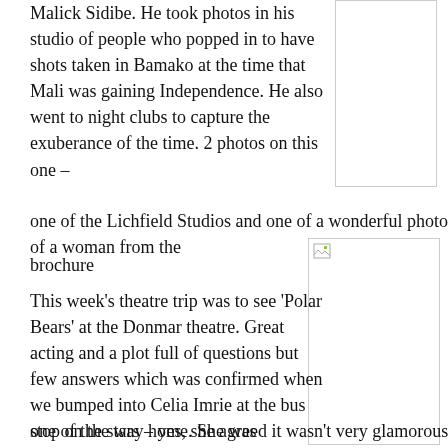Malick Sidibe. He took photos in his studio of people who popped in to have shots taken in Bamako at the time that Mali was gaining Independence. He also went to night clubs to capture the exuberance of the time. 2 photos on this one – one of the Lichfield Studios and one of a wonderful photo of a woman from the brochure
[Figure (photo): Image placeholder (broken image) in upper right column]
[Figure (photo): Image placeholder (broken image) in lower right column]
This week's theatre trip was to see 'Polar Bears' at the Donmar theatre. Great acting and a plot full of questions but few answers which was confirmed when we bumped into Celia Imrie at the bus stop on the way home. She was one of the stars – yes, she agreed it wasn't very glamorous